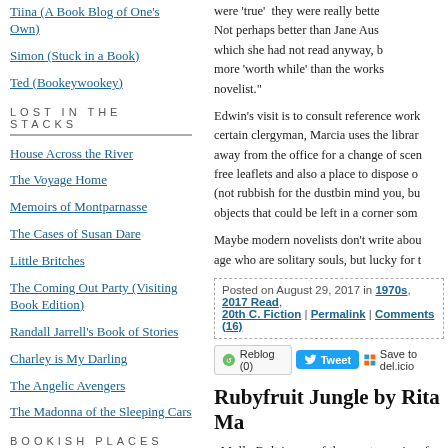Tiina (A Book Blog of One's Own)
Simon (Stuck in a Book)
Ted (Bookeywookey)
LOST IN THE STACKS
House Across the River
The Voyage Home
Memoirs of Montparnasse
The Cases of Susan Dare
Little Britches
The Coming Out Party (Visiting Book Edition)
Randall Jarrell's Book of Stories
Charley is My Darling
The Angelic Avengers
The Madonna of the Sleeping Cars
BOOKISH PLACES
A Cozy Nook to Read In
were 'true' they were really better... Not perhaps better than Jane Aus... which she had not read anyway, b... more 'worth while' than the works... novelist."
Edwin's visit is to consult reference work... certain clergyman, Marcia uses the librar... away from the office for a change of scen... free leaflets and also a place to dispose... (not rubbish for the dustbin mind you, bu... objects that could be left in a corner som...
Maybe modern novelists don't write abou... age who are solitary souls, but lucky for t...
Posted on August 29, 2017 in 1970s, 2017 Read..., 20th C. Fiction | Permalink | Comments (16)
Rubyfruit Jungle by Rita Ma...
Molly Bolt is one of the most genuine, fu... heroines in all of literature for me. She's... I would be pleased to have her as a frien...